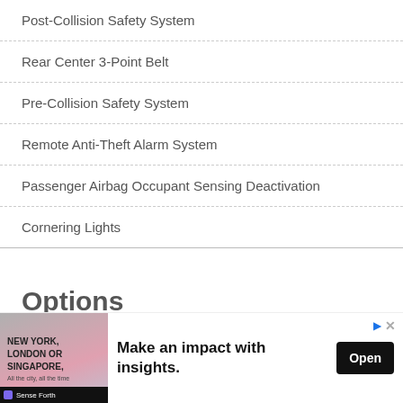Post-Collision Safety System
Rear Center 3-Point Belt
Pre-Collision Safety System
Remote Anti-Theft Alarm System
Passenger Airbag Occupant Sensing Deactivation
Cornering Lights
Options
[Figure (screenshot): Dropdown chevron UI element]
[Figure (infographic): Advertisement banner: NEW YORK, LONDON OR SINGAPORE. Make an impact with insights. Open button. Sense Forth branding.]